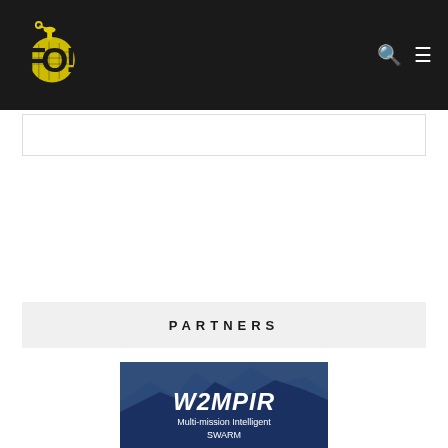FOI! logo with navigation icons (search and hamburger menu)
[Figure (other): Empty advertisement/banner placeholder box with thin border]
PARTNERS
[Figure (other): W2MPIR - Multi-mission Intelligent SWARM promotional card with dark blue background and mountain silhouette]